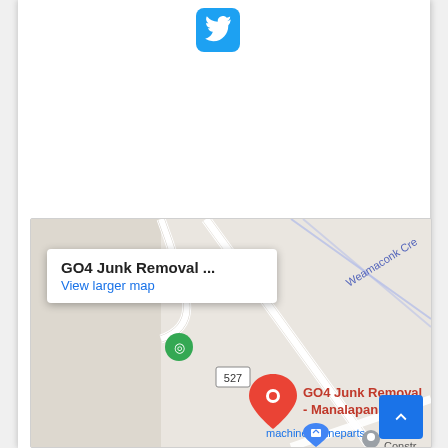[Figure (logo): Twitter bird logo icon in blue rounded square button at top center]
[Figure (map): Google Maps screenshot showing GO4 Junk Removal - Manalapan location with red map pin, road 527, Weamaconk Creek label, machineengineparts and Moshe Construction nearby markers. Info popup shows 'GO4 Junk Removal ...' and 'View larger map' link.]